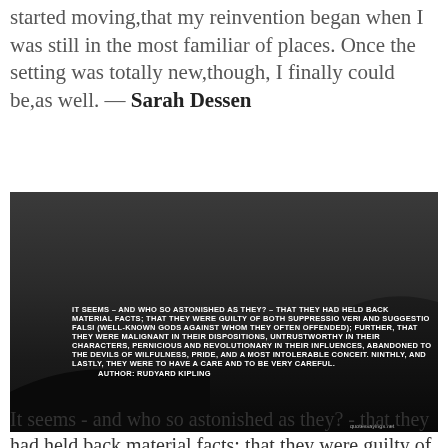started moving,that my reinvention began when I was still in the most familiar of places. Once the setting was totally new,though, I finally could be,as well. — Sarah Dessen
[Figure (photo): Dark nighttime landscape photo with white text overlay reading a Rudyard Kipling quote about suppression of facts, malignant dispositions, and being careful. Attribution: AUTHOR: RUDYARD KIPLING. Watermark: quotessayings.net]
It seems - and who so astonished as they? - that they had held back material facts; that they were guilty of